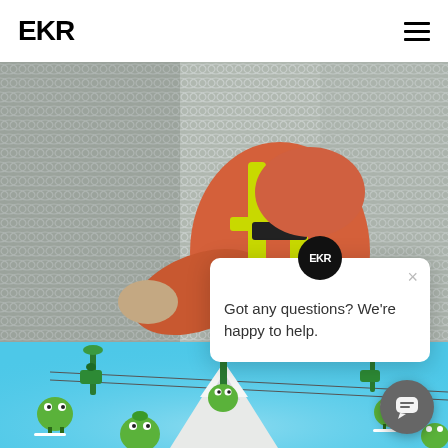[Figure (logo): EKR logo in bold black letters on white header]
[Figure (photo): Construction worker in orange jacket and yellow hi-vis harness pressing hands against grey wire mesh wall]
[Figure (screenshot): Chat popup widget with EKR logo avatar, close X button, and text 'Got any questions? We're happy to help.']
[Figure (illustration): Animated cartoon scene with green apple characters skiing, cable car, and snowy mountain on sky blue background]
[Figure (other): Dark grey circular chat button with speech bubble icon in bottom right corner]